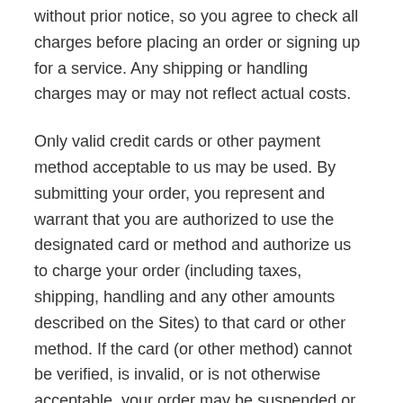without prior notice, so you agree to check all charges before placing an order or signing up for a service. Any shipping or handling charges may or may not reflect actual costs.
Only valid credit cards or other payment method acceptable to us may be used. By submitting your order, you represent and warrant that you are authorized to use the designated card or method and authorize us to charge your order (including taxes, shipping, handling and any other amounts described on the Sites) to that card or other method. If the card (or other method) cannot be verified, is invalid, or is not otherwise acceptable, your order may be suspended or cancelled automatically.
All returns are governed by our Return Policy, which can be found at https://emeryroad.com/return-policy.
We attempt to be as accurate as possible and eliminate errors on this Site; however, We do not warrant that any product, service,